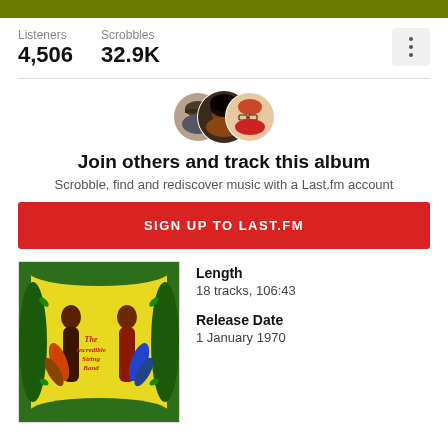Listeners 4,506   Scrobbles 32.9K
[Figure (photo): Three circular avatar photos of users overlapping]
Join others and track this album
Scrobble, find and rediscover music with a Last.fm account
SIGN UP TO LAST.FM
[Figure (illustration): The Incredible String Band album cover with yellow background, stylized figures, and green foliage border]
Length
18 tracks, 106:43
Release Date
1 January 1970